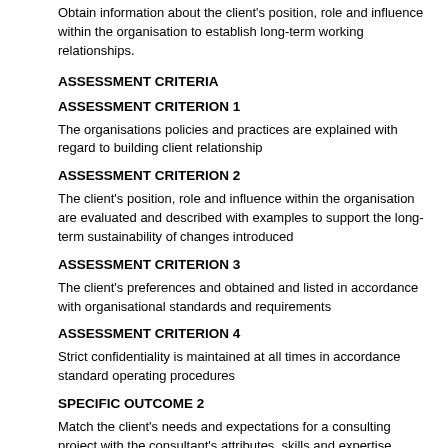Obtain information about the client's position, role and influence within the organisation to establish long-term working relationships.
ASSESSMENT CRITERIA
ASSESSMENT CRITERION 1
The organisations policies and practices are explained with regard to building client relationship
ASSESSMENT CRITERION 2
The client's position, role and influence within the organisation are evaluated and described with examples to support the long-term sustainability of changes introduced
ASSESSMENT CRITERION 3
The client's preferences and obtained and listed in accordance with organisational standards and requirements
ASSESSMENT CRITERION 4
Strict confidentiality is maintained at all times in accordance standard operating procedures
SPECIFIC OUTCOME 2
Match the client's needs and expectations for a consulting project with the consultant's attributes, skills and expertise.
ASSESSMENT CRITERIA